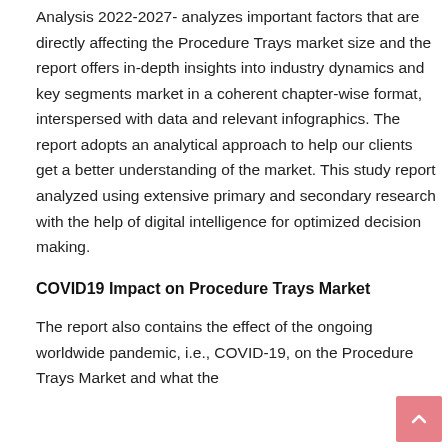Analysis 2022-2027- analyzes important factors that are directly affecting the Procedure Trays market size and the report offers in-depth insights into industry dynamics and key segments market in a coherent chapter-wise format, interspersed with data and relevant infographics. The report adopts an analytical approach to help our clients get a better understanding of the market. This study report analyzed using extensive primary and secondary research with the help of digital intelligence for optimized decision making.
COVID19 Impact on Procedure Trays Market
The report also contains the effect of the ongoing worldwide pandemic, i.e., COVID-19, on the Procedure Trays Market and what the